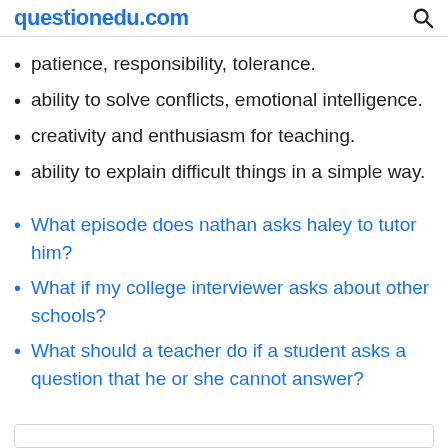questionedu.com
patience, responsibility, tolerance.
ability to solve conflicts, emotional intelligence.
creativity and enthusiasm for teaching.
ability to explain difficult things in a simple way.
What episode does nathan asks haley to tutor him?
What if my college interviewer asks about other schools?
What should a teacher do if a student asks a question that he or she cannot answer?